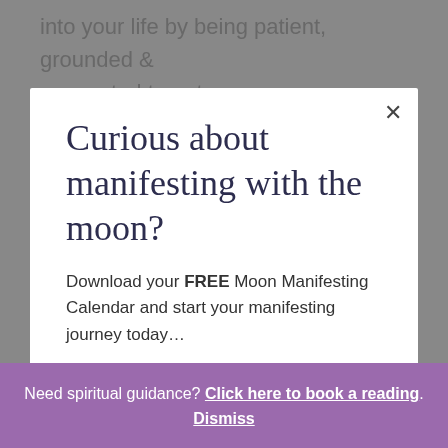into your life by being patient, grounded & connected to nature.
Curious about manifesting with the moon?
Download your FREE Moon Manifesting Calendar and start your manifesting journey today…
Email address
Yes, let's manifest!
Need spiritual guidance? Click here to book a reading. Dismiss